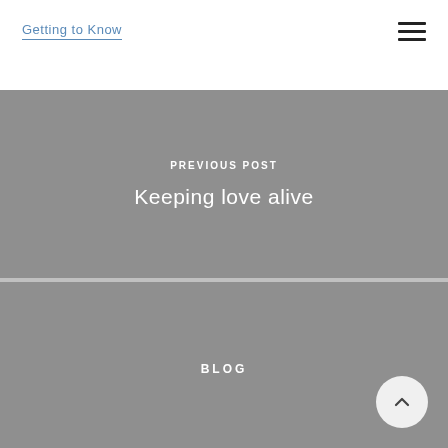Getting to Know
PREVIOUS POST
Keeping love alive
BLOG